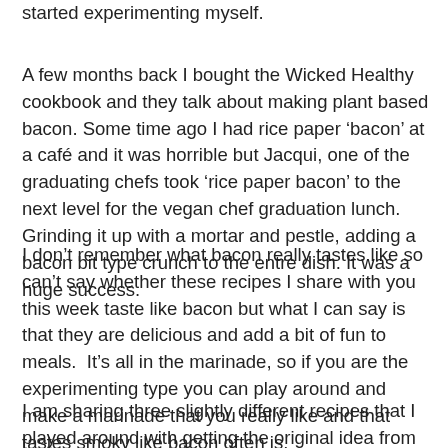started experimenting myself.
A few months back I bought the Wicked Healthy cookbook and they talk about making plant based bacon. Some time ago I had rice paper ‘bacon’ at a café and it was horrible but Jacqui, one of the graduating chefs took ‘rice paper bacon’ to the next level for the vegan chef graduation lunch. Grinding it up with a mortar and pestle, adding a bacon bit type crunch to the entre dish. It was a huge success.
I don’t remember what bacon really tastes like so can’t say whether these recipes I share with you this week taste like bacon but what I can say is that they are delicious and add a bit of fun to meals.  It’s all in the marinade, so if you are the experimenting type you can play around and make a marinade that you really like and that tastes smoky like bacon often is.
I am sharing three slightly different recipes that I played around with getting the original idea from the guys at Wicked Healthy. In their cookbook they make rice paper, tempeh, tofu, carrots,